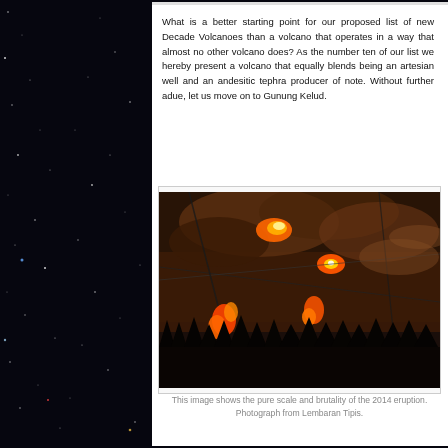What is a better starting point for our proposed list of new Decade Volcanoes than a volcano that operates in a way that almost no other volcano does? As the number ten of our list we hereby present a volcano that equally blends being an artesian well and an andesitic tephra producer of note. Without further adue, let us move on to Gunung Kelud.
[Figure (photo): Nighttime photograph of the 2014 eruption of Gunung Kelud showing glowing lava and pyroclastic ejecta against a dark sky with silhouetted trees in the foreground.]
This image shows the pure scale and brutality of the 2014 eruption. Photograph from Lembaran Tipis.